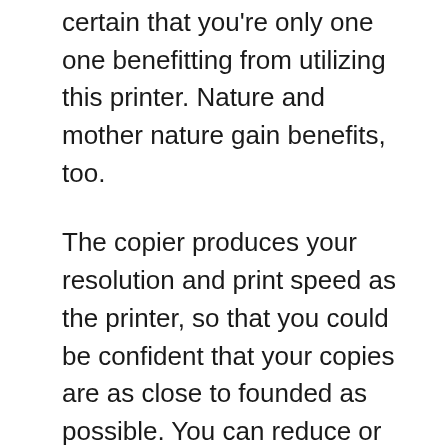certain that you're only one one benefitting from utilizing this printer. Nature and mother nature gain benefits, too.
The copier produces your resolution and print speed as the printer, so that you could be confident that your copies are as close to founded as possible. You can reduce or enlarge your copies to preset sizes of 50%, 64%, 78%, 129%, and 200%. The copier even has memory for various documents that you had copied previously. What I like best about this copier is that it helps me save paper by allowing 2 on 1 printing, where specialists . print two copied documents in only one paper.
The laser ones can be use whenever your printout always be make an impression or for pictures because glossy surface and ink make up for great